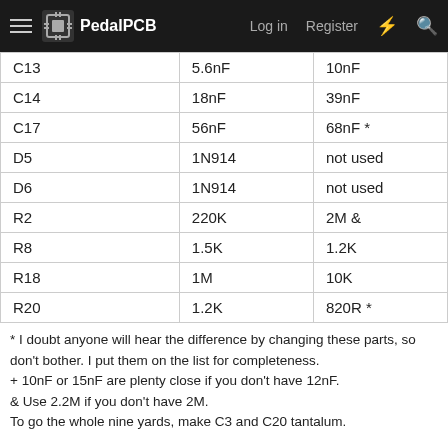PedalPCB — Log in  Register
| Component | Original | Alternate |
| --- | --- | --- |
| C13 | 5.6nF | 10nF |
| C14 | 18nF | 39nF |
| C17 | 56nF | 68nF * |
| D5 | 1N914 | not used |
| D6 | 1N914 | not used |
| R2 | 220K | 2M & |
| R8 | 1.5K | 1.2K |
| R18 | 1M | 10K |
| R20 | 1.2K | 820R * |
* I doubt anyone will hear the difference by changing these parts, so don't bother. I put them on the list for completeness.
+ 10nF or 15nF are plenty close if you don't have 12nF.
& Use 2.2M if you don't have 2M.
To go the whole nine yards, make C3 and C20 tantalum.
That's all for part 3. It will be a few days until part 4 is ready.